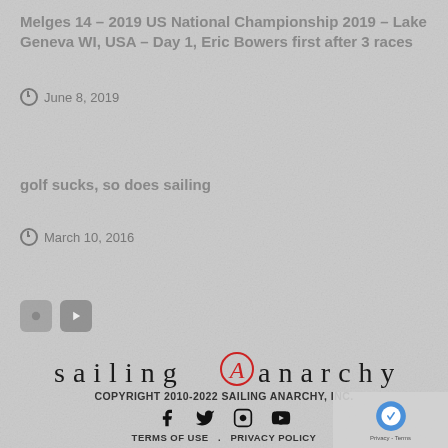Melges 14 – 2019 US National Championship 2019 – Lake Geneva WI, USA – Day 1, Eric Bowers first after 3 races
June 8, 2019
golf sucks, so does sailing
March 10, 2016
[Figure (logo): Sailing Anarchy logo with anarchy symbol A in red]
COPYRIGHT 2010-2022 SAILING ANARCHY, INC.
TERMS OF USE   .   PRIVACY POLICY